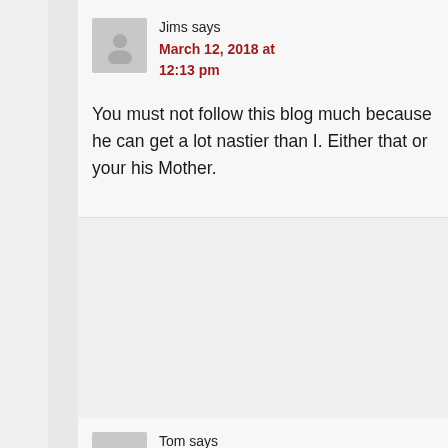Jims says
March 12, 2018 at 12:13 pm
You must not follow this blog much because he can get a lot nastier than I. Either that or your his Mother.
Tom says
March 12, 2018 at 11:21 pm